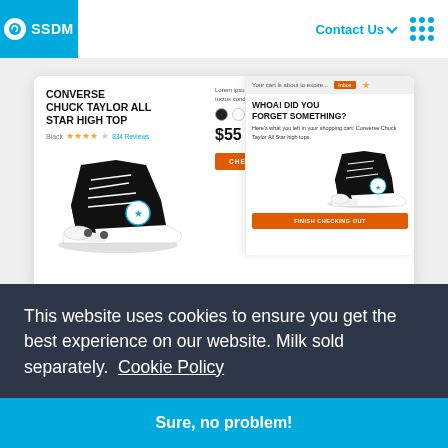[Figure (screenshot): SSDM website header with logo, Contact Us navigation, and grid menu icon]
[Figure (screenshot): E-commerce product page screenshot showing Converse Chuck Taylor All Star High Top shoe priced at $55 with color swatches, quantity selector, and checkout button, plus an abandoned cart popup overlay saying WHOA! DID YOU FORGET SOMETHING?]
This website uses cookies to ensure you get the best experience on our website. Milk sold separately.  Cookie Policy
Sure, no problem!